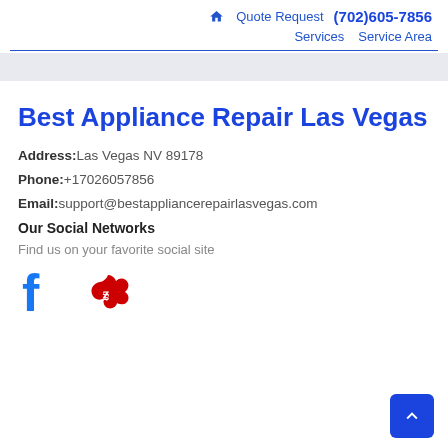🏠  Quote Request  (702)605-7856  Services  Service Area
Best Appliance Repair Las Vegas
Address:Las Vegas NV 89178
Phone:+17026057856
Email:support@bestappliancerepairlasvegas.com
Our Social Networks
Find us on your favorite social site
[Figure (logo): Facebook logo icon (blue F) and Yelp logo icon (white burst on blue)]